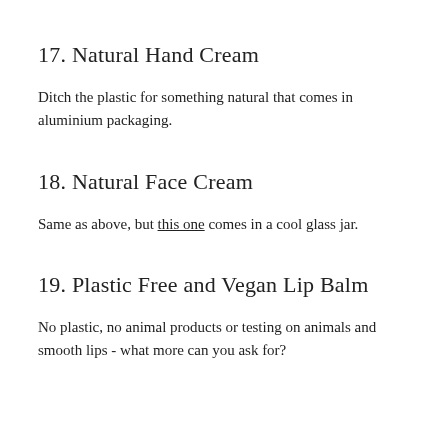17. Natural Hand Cream
Ditch the plastic for something natural that comes in aluminium packaging.
18. Natural Face Cream
Same as above, but this one comes in a cool glass jar.
19. Plastic Free and Vegan Lip Balm
No plastic, no animal products or testing on animals and smooth lips - what more can you ask for?